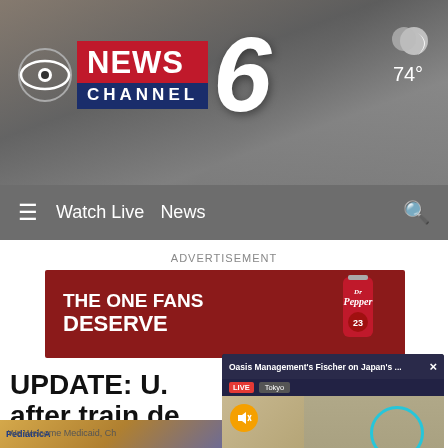[Figure (screenshot): CBS News Channel 6 website header with logo, navigation bar, advertisement banner, article headline, and floating Bloomberg video overlay of Seth Fischer from Oasis Management speaking from Tokyo]
CBS NEWS CHANNEL 6 — 74°
≡  Watch Live  News
ADVERTISEMENT
[Figure (photo): Dr Pepper advertisement banner: THE ONE FANS DESERVE]
UPDATE: U.  after train de
[Figure (screenshot): Floating video overlay: Oasis Management's Fischer on Japan's ... LIVE Tokyo — Seth Fischer, OASIS MANAGEMENT FOUNDER AND CIO — Sohn | FISCHER TAKING ON BOARD DIVERSITY]
[Figure (photo): Pediatric Associates advertisement: We Welcome Medicaid, Ch...]